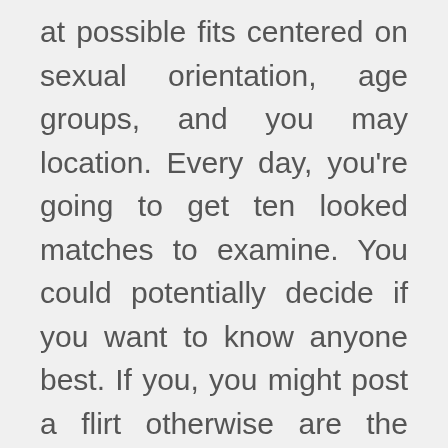at possible fits centered on sexual orientation, age groups, and you may location. Every day, you're going to get ten looked matches to examine. You could potentially decide if you want to know anyone best. If you, you might post a flirt otherwise are the reputation to your favorites. If you have a premium account, you have more an approach to reach out via your email.
There are even a means to filter out your pursuit and associations. You could filter out your search to search for the brand new people. You could want to research by ethnicity, children, puffing models, and even astrological sign. This type of filter systems